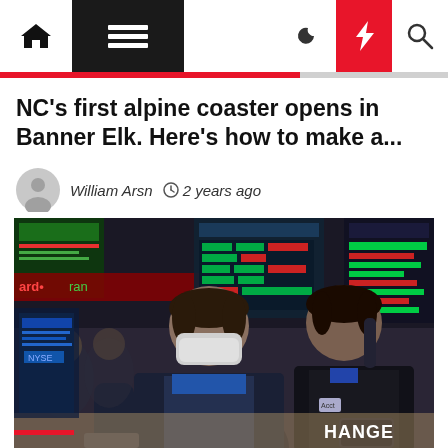Navigation bar with home, menu, moon, bolt, and search icons
NC's first alpine coaster opens in Banner Elk. Here's how to make a...
William Arsn  2 years ago
[Figure (photo): Stock exchange trading floor with traders wearing masks, financial ticker screens visible in background, text 'HANGE' visible in lower right corner]